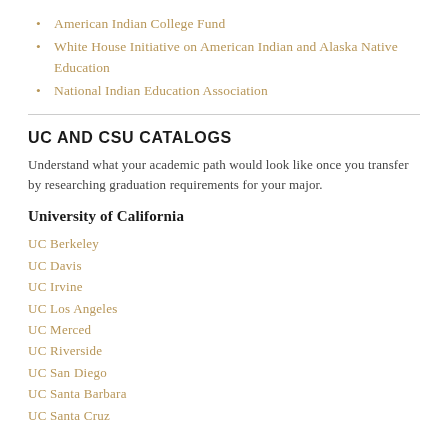American Indian College Fund
White House Initiative on American Indian and Alaska Native Education
National Indian Education Association
UC AND CSU CATALOGS
Understand what your academic path would look like once you transfer by researching graduation requirements for your major.
University of California
UC Berkeley
UC Davis
UC Irvine
UC Los Angeles
UC Merced
UC Riverside
UC San Diego
UC Santa Barbara
UC Santa Cruz